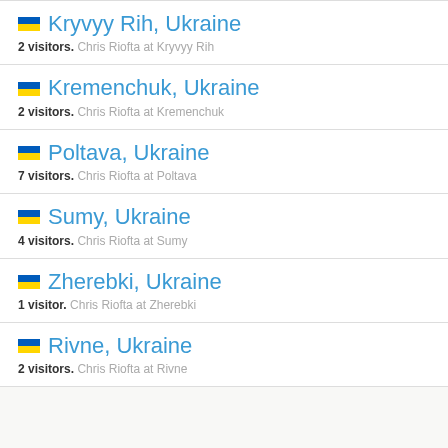Kryvyy Rih, Ukraine — 2 visitors. Chris Riofta at Kryvyy Rih
Kremenchuk, Ukraine — 2 visitors. Chris Riofta at Kremenchuk
Poltava, Ukraine — 7 visitors. Chris Riofta at Poltava
Sumy, Ukraine — 4 visitors. Chris Riofta at Sumy
Zherebki, Ukraine — 1 visitor. Chris Riofta at Zherebki
Rivne, Ukraine — 2 visitors. Chris Riofta at Rivne